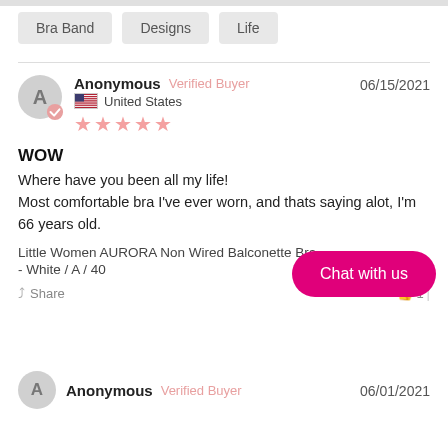Bra Band
Designs
Life
Anonymous  Verified Buyer  06/15/2021
United States
★★★★★
WOW
Where have you been all my life!
Most comfortable bra I've ever worn, and thats saying alot, I'm 66 years old.
Little Women AURORA Non Wired Balconette Bra
- White / A / 40
Share  1
Chat with us
Anonymous  Verified Buyer  06/01/2021